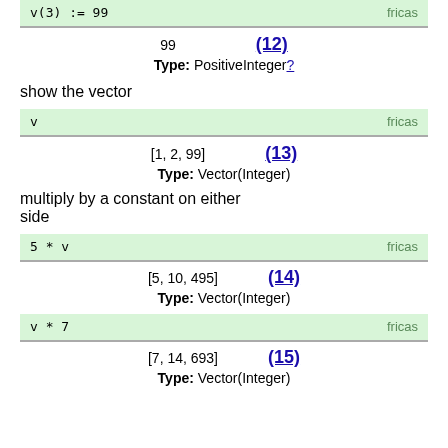v(3) := 99
99    (12)
Type: PositiveInteger?
show the vector
v
[1, 2, 99]    (13)
Type: Vector(Integer)
multiply by a constant on either side
5 * v
[5, 10, 495]    (14)
Type: Vector(Integer)
v * 7
[7, 14, 693]    (15)
Type: Vector(Integer)